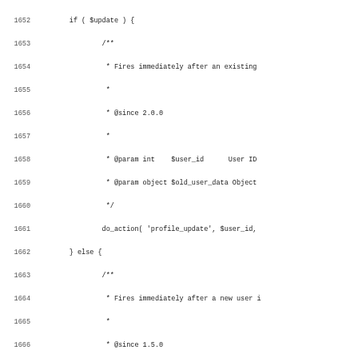[Figure (other): Source code listing (PHP) showing lines 1652-1683, including if/else block with do_action calls for 'profile_update' and 'user_register', return statement, closing brace, and start of a new PHPDoc comment block for a function that updates a user in the database.]